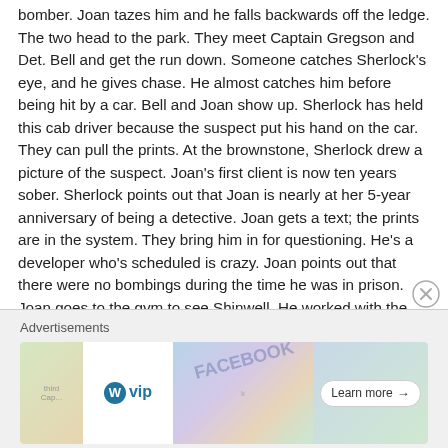bomber. Joan tazes him and he falls backwards off the ledge. The two head to the park. They meet Captain Gregson and Det. Bell and get the run down. Someone catches Sherlock's eye, and he gives chase. He almost catches him before being hit by a car. Bell and Joan show up. Sherlock has held this cab driver because the suspect put his hand on the car. They can pull the prints. At the brownstone, Sherlock drew a picture of the suspect. Joan's first client is now ten years sober. Sherlock points out that Joan is nearly at her 5-year anniversary of being a detective. Joan gets a text; the prints are in the system. They bring him in for questioning. He's a developer who's scheduled is crazy. Joan points out that there were no bombings during the time he was in prison. Joan goes to the gym to see Shinwell. He worked with the suspect in the prison cafeteria. Back inside, Shinwell makes a call. Sherlock goes through the suspect's garbage. The two have a tense conversation. Gregson and Joan talk to his ex-wife. Joan brings up the bombings. The ex-wife defends him. Shinwell comes to the brownstone to see Joan. Joan arrives. Shinwell
[Figure (other): Advertisement bar with 'Advertisements' label, showing WordPress VIP logo, a colorful ad with FACEBOOK text overlay, and a 'Learn more' button]